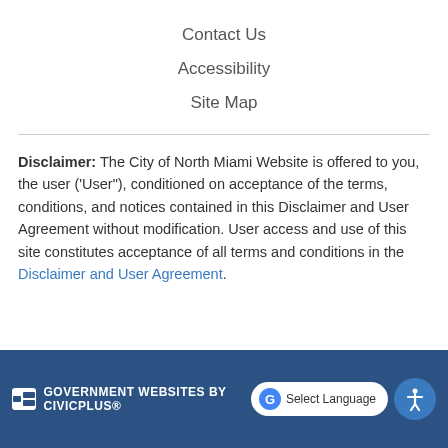Contact Us
Accessibility
Site Map
Disclaimer: The City of North Miami Website is offered to you, the user ('User"), conditioned on acceptance of the terms, conditions, and notices contained in this Disclaimer and User Agreement without modification. User access and use of this site constitutes acceptance of all terms and conditions in the Disclaimer and User Agreement.
GOVERNMENT WEBSITES BY CIVICPLUS®  Select Language